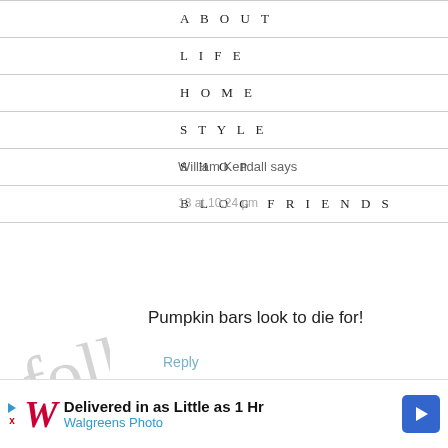ABOUT
LIFE
HOME
STYLE
SHOP
BLOG FRIENDS
William Kendall says
at 10:24 pm
Pumpkin bars look to die for!
Reply
[Figure (other): Decorative cursive 'follow' script watermark on left side]
[Figure (other): Walgreens Photo advertisement banner: 'Delivered in as Little as 1 Hr' with Walgreens logo and navigation arrow icon]